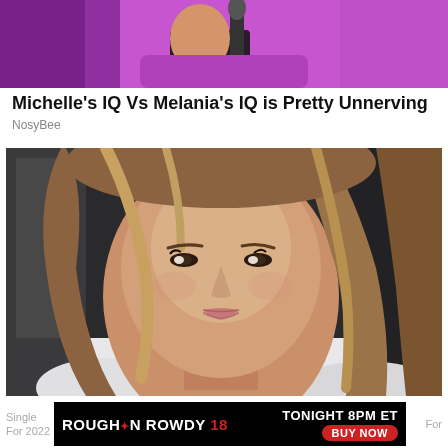[Figure (photo): Top portion of a person in a purple/magenta outfit holding a microphone, cropped to show upper body]
Michelle's IQ Vs Melania's IQ is Pretty Unnerving
NosyBee
[Figure (photo): Close-up selfie photo of a young woman with long wavy highlighted brown hair, subtle makeup, wearing a white top, smiling softly]
Single For 2022
[Figure (infographic): Advertisement banner for Rough N Rowdy 18 event. Black background with white text: ROUGH N ROWDY 18, TONIGHT 8PM ET, BUY NOW button in red]